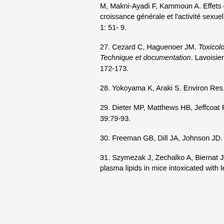M, Makni-Ayadi F, Kammoun A. Effets du plomb d'origine automobile sur la croissance générale et l'activité sexuelle du rat. Gynecol Obstet Fertil 2000 ; 1: 51- 9.
27. Cezard C, Haguenoer JM. Toxicologie du plomb chez l'homme. Technique et documentation. Lavoisier, Paris, France, TEC & DOC 1992; 172-173.
28. Yokoyama K, Araki S. Environ Res. 1992; 59:440-446.
29. Dieter MP, Matthews HB, Jeffcoat RA. J Toxicol Environ Health. 1993; 39:79-93.
30. Freeman GB, Dill JA, Johnson JD. Fund Appl Toxicol. 1996; 33:109-119.
31. Szymezak J, Zechalko A, Biernat J. Effect of fodder fat type on blood plasma lipids in mice intoxicated with lead. Bromatol